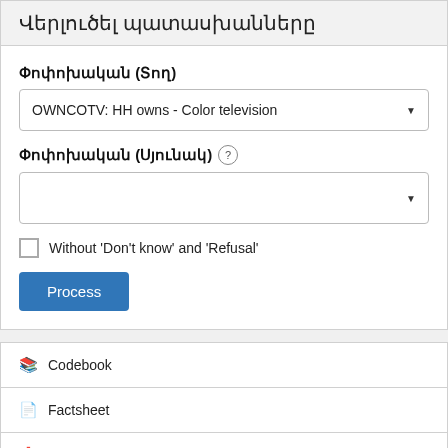Վերլուծել պատասխանները
Փոփոխական (Տող)
OWNCOTV: HH owns - Color television
Փոփոխական (Սյունակ)
Without 'Don't know' and 'Refusal'
Process
Codebook
Factsheet
Downloads